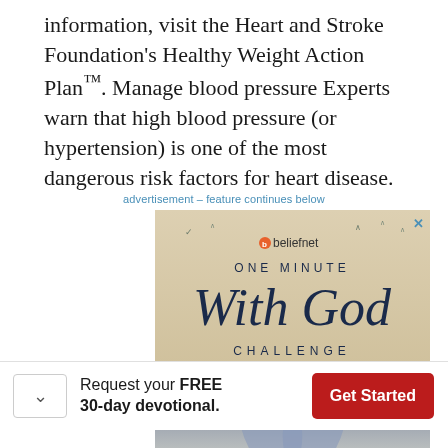information, visit the Heart and Stroke Foundation's Healthy Weight Action Plan™. Manage blood pressure Experts warn that high blood pressure (or hypertension) is one of the most dangerous risk factors for heart disease.
advertisement – feature continues below
[Figure (illustration): Beliefnet advertisement banner showing 'ONE MINUTE With God CHALLENGE' with praying hands imagery and birds on a beige/stone background. Includes a close (X) button.]
Request your FREE 30-day devotional.
[Figure (other): Get Started button (red/dark red rounded rectangle with white text 'Get Started')]